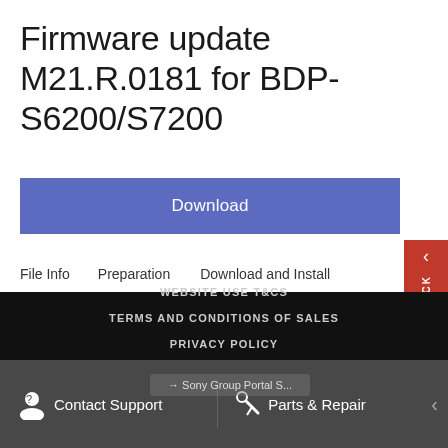Firmware update M21.R.0181 for BDP-S6200/S7200
Download
File Info    Preparation    Download and Install
FEEDBACK
WEBSITE USE T&CS
TERMS AND CONDITIONS OF SALES
PRIVACY POLICY
© 2022 SONY OF CANADA LTD.
Contact Support    Parts & Repair